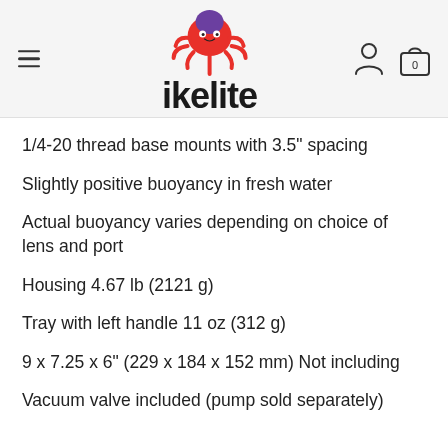[Figure (logo): Ikelite logo with octopus mascot and bold 'ikelite' wordmark]
1/4-20 thread base mounts with 3.5" spacing
Slightly positive buoyancy in fresh water
Actual buoyancy varies depending on choice of lens and port
Housing 4.67 lb (2121 g)
Tray with left handle 11 oz (312 g)
9 x 7.25 x 6" (229 x 184 x 152 mm) Not including
Vacuum valve included (pump sold separately)